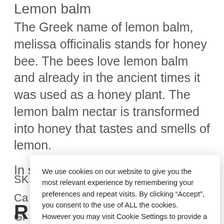Lemon balm
The Greek name of lemon balm, melissa officinalis stands for honey bee. The bees love lemon balm and already in the ancient times it was used as a honey plant. The lemon balm nectar is transformed into honey that tastes and smells of lemon.
In stock (can be backordered)
SK
Ca
Gr
Ta
R
We use cookies on our website to give you the most relevant experience by remembering your preferences and repeat visits. By clicking “Accept”, you consent to the use of ALL the cookies. However you may visit Cookie Settings to provide a controlled consent.
Cookie settings
ACCEPT